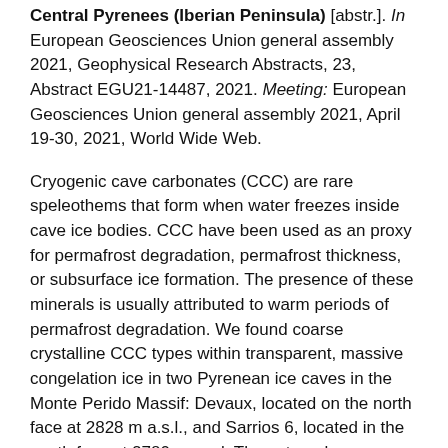Central Pyrenees (Iberian Peninsula) [abstr.]. In European Geosciences Union general assembly 2021, Geophysical Research Abstracts, 23, Abstract EGU21-14487, 2021. Meeting: European Geosciences Union general assembly 2021, April 19-30, 2021, World Wide Web.
Cryogenic cave carbonates (CCC) are rare speleothems that form when water freezes inside cave ice bodies. CCC have been used as an proxy for permafrost degradation, permafrost thickness, or subsurface ice formation. The presence of these minerals is usually attributed to warm periods of permafrost degradation. We found coarse crystalline CCC types within transparent, massive congelation ice in two Pyrenean ice caves in the Monte Perido Massif: Devaux, located on the north face at 2828 m a.s.l., and Sarrios 6, located in the south face at 2780 m a.s.l. The external mean annual air temperature (MAAT) at Devaux is ~0°C, while at Sarrios 6 is ~2.5°C. In the Monte Perdido massif discontinuous permafrost is currently present between 2750 and 2900 m a.s.l. and is more frequent above 2900